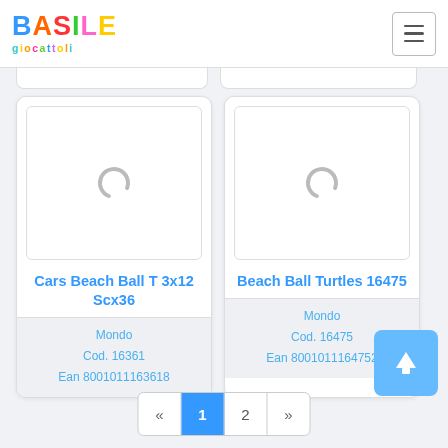[Figure (logo): Basile Giocattoli colorful logo]
[Figure (illustration): Loading spinner placeholder for Cars Beach Ball product image]
Cars Beach Ball T 3x12 Scx36
Mondo
Cod. 16361
Ean 8001011163618
[Figure (illustration): Loading spinner placeholder for Beach Ball Turtles product image]
Beach Ball Turtles 16475
Mondo
Cod. 16475
Ean 8001011164752
« 1 2 »